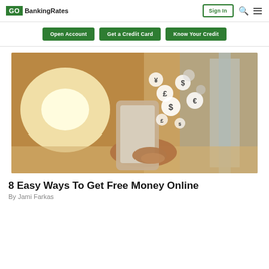GOBankingRates — Sign In
Open Account   Get a Credit Card   Know Your Credit
[Figure (photo): A hand holding a smartphone with currency symbols (£, ¥, $, €) floating above it in a blurred shopping mall background.]
8 Easy Ways To Get Free Money Online
By Jami Farkas